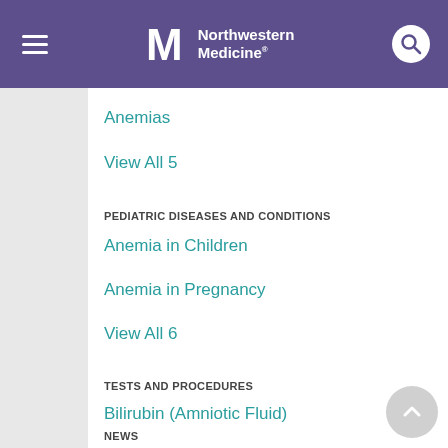Northwestern Medicine
Anemias
View All 5
PEDIATRIC DISEASES AND CONDITIONS
Anemia in Children
Anemia in Pregnancy
View All 6
TESTS AND PROCEDURES
Bilirubin (Amniotic Fluid)
Blood Smear
View All 11
NEWS